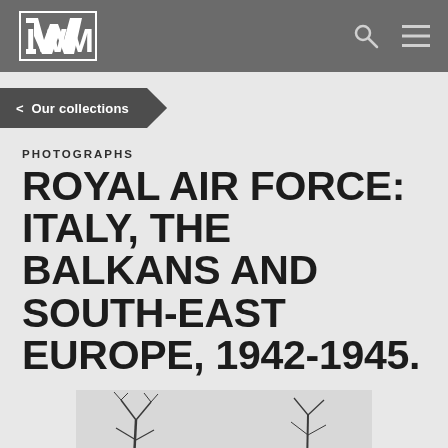IWM
< Our collections
PHOTOGRAPHS
ROYAL AIR FORCE: ITALY, THE BALKANS AND SOUTH-EAST EUROPE, 1942-1945.
[Figure (photo): Black and white photograph showing people outdoors with bare winter trees in the background, landscape scene.]